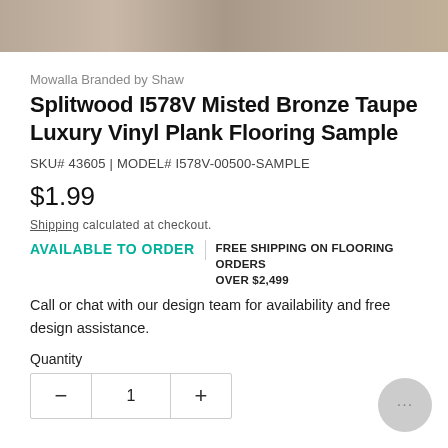[Figure (photo): Product image showing wood-look luxury vinyl plank flooring texture in brown/taupe tones]
Mowalla Branded by Shaw
Splitwood I578V Misted Bronze Taupe Luxury Vinyl Plank Flooring Sample
SKU# 43605 | MODEL# I578V-00500-SAMPLE
$1.99
Shipping calculated at checkout.
AVAILABLE TO ORDER | FREE SHIPPING ON FLOORING ORDERS OVER $2,499
Call or chat with our design team for availability and free design assistance.
Quantity